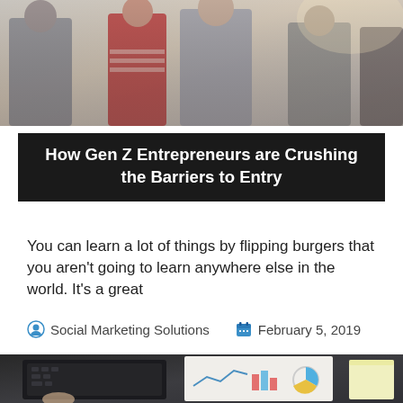[Figure (photo): Group of young people standing together, Gen Z entrepreneurs, outdoor photo]
How Gen Z Entrepreneurs are Crushing the Barriers to Entry
You can learn a lot of things by flipping burgers that you aren't going to learn anywhere else in the world. It's a great
Social Marketing Solutions   February 5, 2019
[Figure (photo): Laptop computer next to a paper with charts and graphs, and a yellow sticky note on a dark desk]